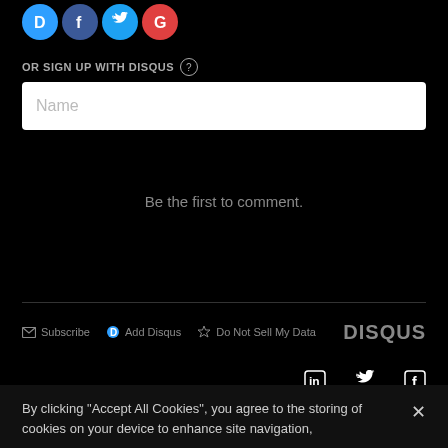[Figure (illustration): Social login icons: Disqus (blue D), Facebook (blue f), Twitter (blue bird), Google (red G)]
OR SIGN UP WITH DISQUS ?
[Figure (screenshot): Name input field (white text box with placeholder 'Name')]
Be the first to comment.
Subscribe  Add Disqus  Do Not Sell My Data  DISQUS
[Figure (illustration): Social share icons: LinkedIn (in), Twitter (bird), Facebook (f)]
By clicking "Accept All Cookies", you agree to the storing of cookies on your device to enhance site navigation,